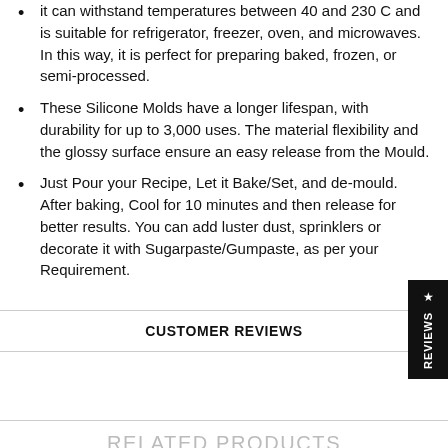it can withstand temperatures between 40 and 230 C and is suitable for refrigerator, freezer, oven, and microwaves. In this way, it is perfect for preparing baked, frozen, or semi-processed.
These Silicone Molds have a longer lifespan, with durability for up to 3,000 uses. The material flexibility and the glossy surface ensure an easy release from the Mould.
Just Pour your Recipe, Let it Bake/Set, and de-mould. After baking, Cool for 10 minutes and then release for better results. You can add luster dust, sprinklers or decorate it with Sugarpaste/Gumpaste, as per your Requirement.
CUSTOMER REVIEWS
RELATED PRODUCTS